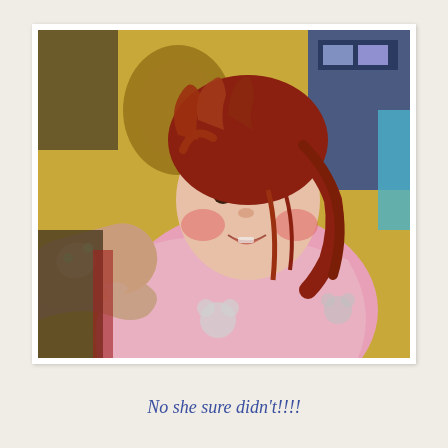[Figure (photo): A young girl with red curly wet hair sits in a barber/salon chair wearing a pink cape with cartoon characters (Mickey Mouse). A person's hand holds a hairdryer near her head. She has rosy cheeks and her mouth is slightly open. The background shows a yellow wall and shelves with products.]
No she sure didn't!!!!